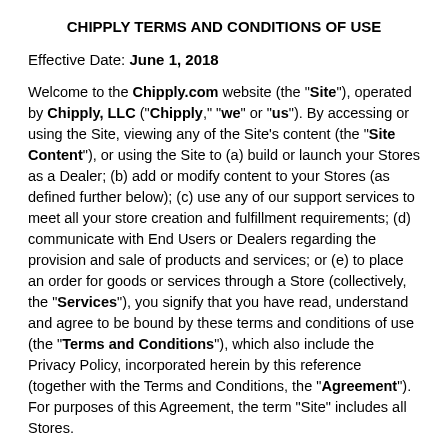CHIPPLY TERMS AND CONDITIONS OF USE
Effective Date: June 1, 2018
Welcome to the Chipply.com website (the "Site"), operated by Chipply, LLC ("Chipply," "we" or "us"). By accessing or using the Site, viewing any of the Site's content (the "Site Content"), or using the Site to (a) build or launch your Stores as a Dealer; (b) add or modify content to your Stores (as defined further below); (c) use any of our support services to meet all your store creation and fulfillment requirements; (d) communicate with End Users or Dealers regarding the provision and sale of products and services; or (e) to place an order for goods or services through a Store (collectively, the "Services"), you signify that you have read, understand and agree to be bound by these terms and conditions of use (the "Terms and Conditions"), which also include the Privacy Policy, incorporated herein by this reference (together with the Terms and Conditions, the "Agreement"). For purposes of this Agreement, the term "Site" includes all Stores.
We reserve the right, at any time, to add to, change, update or modify these Terms and Conditions. Any such change,